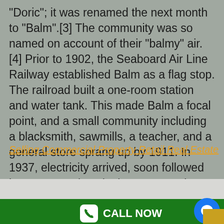“Doric”; it was renamed the next month to “Balm”.[3] The community was so named on account of their “balmy” air.[4] Prior to 1902, the Seaboard Air Line Railway established Balm as a flag stop. The railroad built a one-room station and water tank. This made Balm a focal point, and a small community including a blacksmith, sawmills, a teacher, and a general store sprang up by 1911. In 1937, electricity arrived, soon followed by a community telephone, set up in a barn for all to use. By 1945 the area had a population of over a thousand.[5]
Selling Commercial Property Retail Real Estate
We Can Also Support You With Inventory In These Cities...